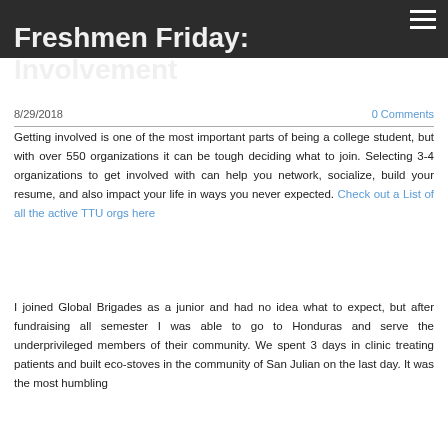Freshmen Friday: Involvement
8/29/2018
0 Comments
Getting involved is one of the most important parts of being a college student, but with over 550 organizations it can be tough deciding what to join. Selecting 3-4 organizations to get involved with can help you network, socialize, build your resume, and also impact your life in ways you never expected. Check out a List of all the active TTU orgs here
I joined Global Brigades as a junior and had no idea what to expect, but after fundraising all semester I was able to go to Honduras and serve the underprivileged members of their community. We spent 3 days in clinic treating patients and built eco-stoves in the community of San Julian on the last day. It was the most humbling